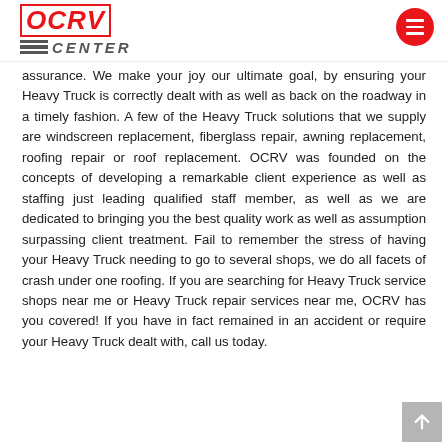OCRV CENTER
assurance. We make your joy our ultimate goal, by ensuring your Heavy Truck is correctly dealt with as well as back on the roadway in a timely fashion. A few of the Heavy Truck solutions that we supply are windscreen replacement, fiberglass repair, awning replacement, roofing repair or roof replacement. OCRV was founded on the concepts of developing a remarkable client experience as well as staffing just leading qualified staff member, as well as we are dedicated to bringing you the best quality work as well as assumption surpassing client treatment. Fail to remember the stress of having your Heavy Truck needing to go to several shops, we do all facets of crash under one roofing. If you are searching for Heavy Truck service shops near me or Heavy Truck repair services near me, OCRV has you covered! If you have in fact remained in an accident or require your Heavy Truck dealt with, call us today.